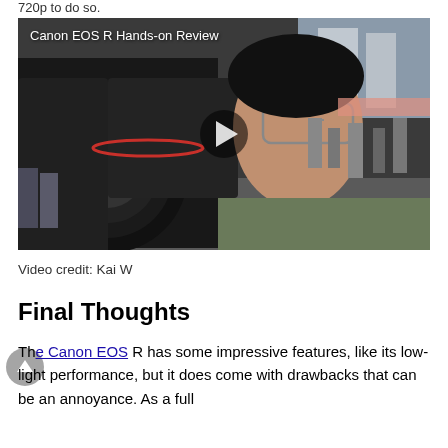720p to do so.
[Figure (screenshot): Video thumbnail showing a man holding a Canon camera with large lens up to his face on a street, with overlay text 'Canon EOS R Hands-on Review' and a play button in the center]
Video credit: Kai W
Final Thoughts
The Canon EOS R has some impressive features, like its low-light performance, but it does come with drawbacks that can be an annoyance. As a full